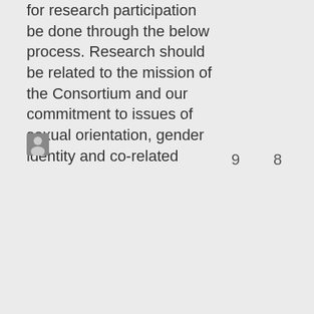for research participation be done through the below process. Research should be related to the mission of the Consortium and our commitment to issues of sexual orientation, gender identity and co-related
[Figure (photo): Small user avatar/profile picture icon]
9
8
Seeking LGBTQ+ undergraduate students for Study by Matthew McClellan on 10/18/2021 11:15:11 AM